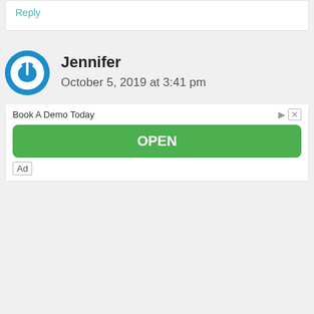Reply
Jennifer
October 5, 2019 at 3:41 pm
Hi, I also received an Blue AMEX Credit Card 3 days ago without applying. I tried to activate it thru SMS because they
Book A Demo Today
OPEN
Ad